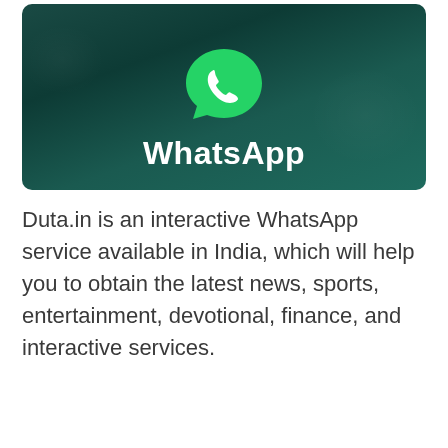[Figure (logo): WhatsApp logo banner: dark teal background with WhatsApp icon (green speech bubble with phone handset) and white bold text 'WhatsApp']
Duta.in is an interactive WhatsApp service available in India, which will help you to obtain the latest news, sports, entertainment, devotional, finance, and interactive services.